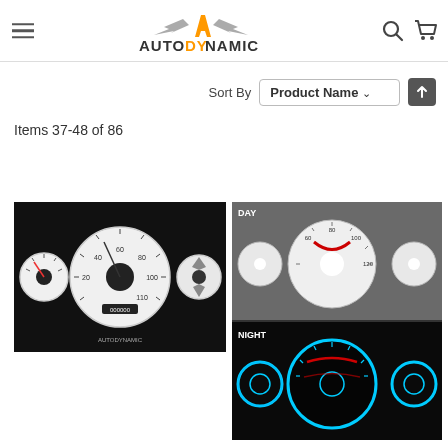[Figure (screenshot): AutoDynamic website header with hamburger menu, logo with orange A emblem, search icon, and cart icon]
Sort By  Product Name ↑
Items 37-48 of 86
[Figure (photo): White automotive gauge cluster / instrument panel face on black background, showing speedometer, tachometer, and other gauges with white dials]
[Figure (photo): Automotive gauge cluster shown in two views: DAY view showing white gauge faces and NIGHT view showing illuminated blue/cyan glowing gauges on black background]